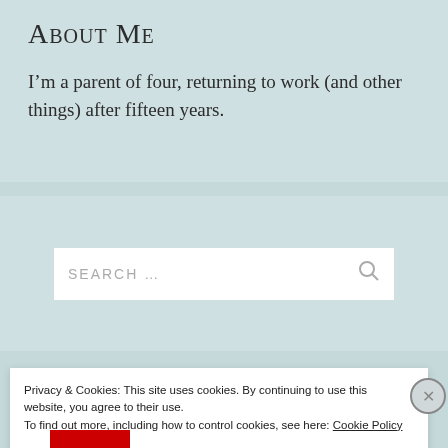About Me
I’m a parent of four, returning to work (and other things) after fifteen years.
SEARCH ...
Privacy & Cookies: This site uses cookies. By continuing to use this website, you agree to their use.
To find out more, including how to control cookies, see here: Cookie Policy
Close and accept